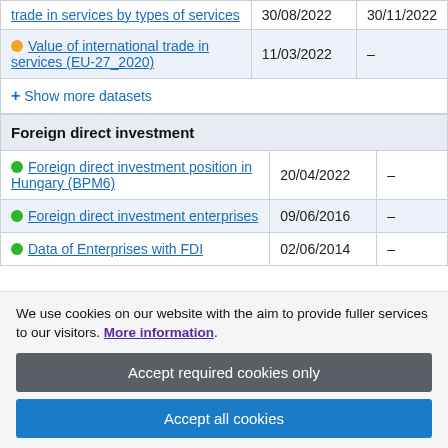| Dataset | Date 1 | Date 2 |
| --- | --- | --- |
| trade in services by types of services | 30/08/2022 | 30/11/2022 |
| Value of international trade in services (EU-27_2020) | 11/03/2022 | – |
| + Show more datasets |  |  |
| Foreign direct investment |  |  |
| Foreign direct investment position in Hungary (BPM6) | 20/04/2022 | – |
| Foreign direct investment enterprises | 09/06/2016 | – |
| Data of Enterprises with FDI | 02/06/2014 | – |
| + Show more datasets |  |  |
We use cookies on our website with the aim to provide fuller services to our visitors. More information.
Accept required cookies only
Accept all cookies